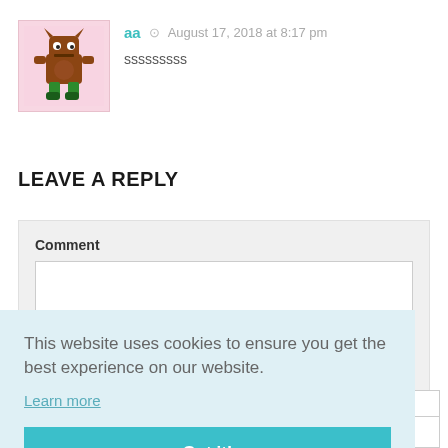[Figure (illustration): Cartoon monster avatar with brown body, green legs and boots, horns, on a pink background]
aa  August 17, 2018 at 8:17 pm
sssssssss
LEAVE A REPLY
Comment
This website uses cookies to ensure you get the best experience on our website.
Learn more
Got it!